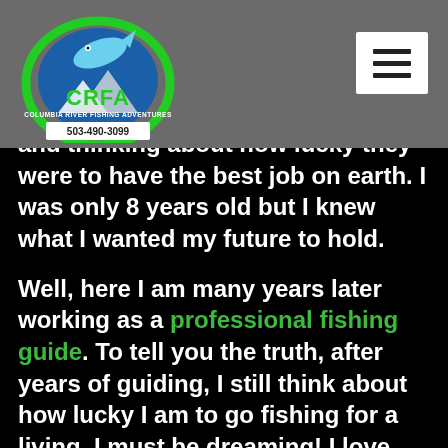[Figure (logo): CRFA Columbia River Fishing Adventures logo with fish, blue circle, green ring, and phone number 503-490-3099]
and thinking about how lucky they were to have the best job on earth. I was only 8 years old but I knew what I wanted my future to hold.

Well, here I am many years later working as a professional fishing guide. To tell you the truth, after years of guiding, I still think about how lucky I am to go fishing for a living. I must be dreaming! I love what I do, and those who have fished with me will testify about the energy and passion I bring to the river each